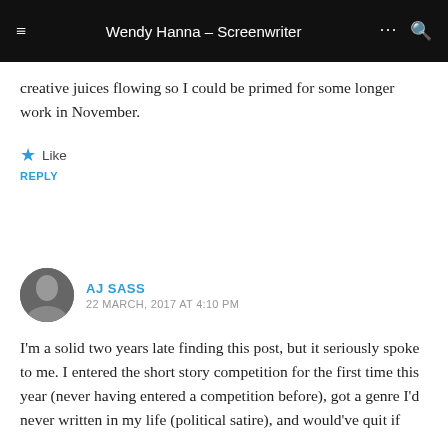Wendy Hanna – Screenwriter
creative juices flowing so I could be primed for some longer work in November.
Like
REPLY
AJ SASS  22 MARCH, 2017 AT 4:10 PM
I'm a solid two years late finding this post, but it seriously spoke to me. I entered the short story competition for the first time this year (never having entered a competition before), got a genre I'd never written in my life (political satire), and would've quit if